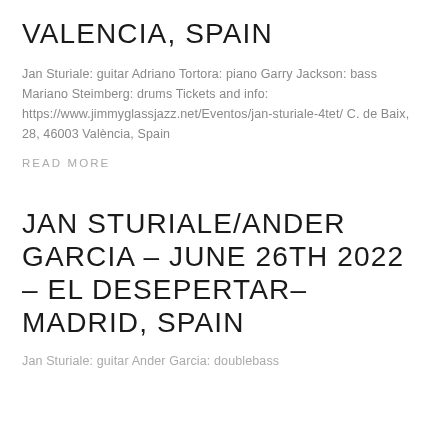VALENCIA, SPAIN
Jan Sturiale: guitar Adriano Tortora: piano Garry Jackson: bass Mariano Steimberg: drums Tickets and info: https://www.jimmyglassjazz.net/Eventos/jan-sturiale-4tet/ C. de Baix, 28, 46003 València, Spain
READ MORE
JAN STURIALE/ANDER GARCIA – JUNE 26TH 2022 – EL DESEPERTAR– MADRID, SPAIN
Jan Sturiale: guitar Ander Garcia: doublebass